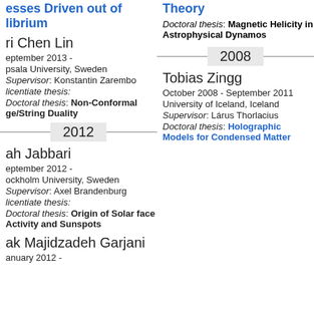esses Driven out of librium
ri Chen Lin
eptember 2013 -
psala University, Sweden
Supervisor: Konstantin Zarembo
licentiate thesis:
Doctoral thesis: Non-Conformal ge/String Duality
2012
ah Jabbari
eptember 2012 -
ockholm University, Sweden
Supervisor: Axel Brandenburg
licentiate thesis:
Doctoral thesis: Origin of Solar face Activity and Sunspots
ak Majidzadeh Garjani
January 2012 -
Theory
Doctoral thesis: Magnetic Helicity in Astrophysical Dynamos
2008
Tobias Zingg
October 2008 - September 2011
University of Iceland, Iceland
Supervisor: Lárus Thorlacius
Doctoral thesis: Holographic Models for Condensed Matter